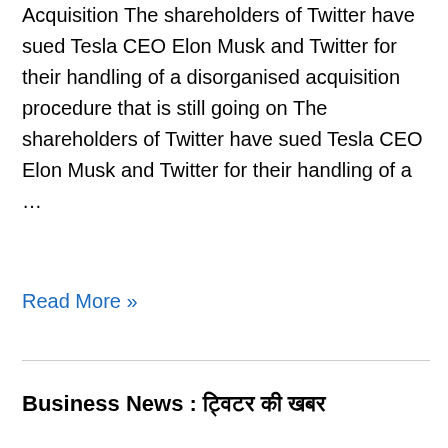Acquisition The shareholders of Twitter have sued Tesla CEO Elon Musk and Twitter for their handling of a disorganised acquisition procedure that is still going on The shareholders of Twitter have sued Tesla CEO Elon Musk and Twitter for their handling of a …
Read More »
Business News : ट्विटर की खबर